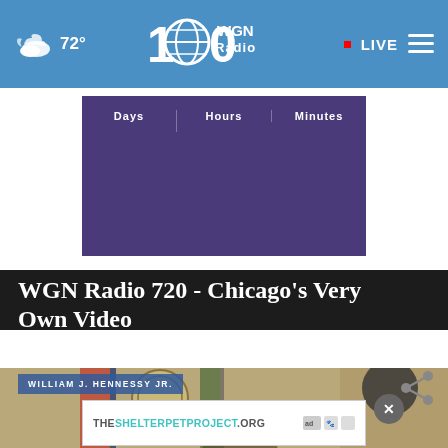WGN Radio - 72° - LIVE
[Figure (screenshot): WGN Radio 100th anniversary logo with globe icon]
Days | Hours | Minutes
WGN Radio 720 - Chicago's Very Own Video
[Figure (photo): Courtroom sketch showing William J. Hennessy Jr. with American and Florida state flags and a seal in the background]
WILLIAM J. HENNESSY JR.
THESHELTERPETPROJECT.ORG